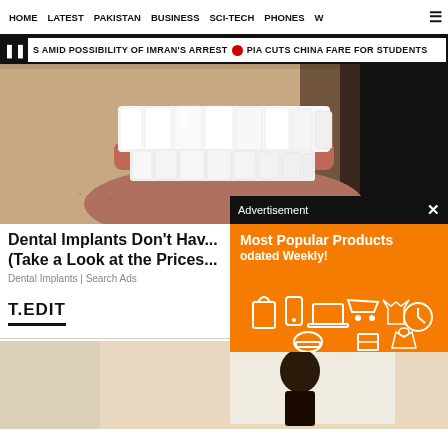HOME  LATEST  PAKISTAN  BUSINESS  SCI-TECH  PHONES  W  ☰
S AMID POSSIBILITY OF IMRAN'S ARREST  ● PIA CUTS CHINA FARE FOR STUDENTS
[Figure (photo): Close-up photo of a person smiling showing white dental implants/teeth with stubble visible on chin and cheeks, dark background on right side]
Dental Implants Don't Hav... (Take a Look at the Prices...
Dental Implants | Search Ads
[Figure (infographic): Advertisement overlay with black header bar reading 'Advertisement' and an orange background showing 'Most Popular Products Updated Weekly!' with white shopping/technology icons]
T.EDIT
[Figure (photo): Bottom portion of a fashion photo showing a person against a beige/nude background with a white frame element]